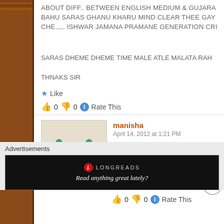ABOUT DIFF.. BETWEEN ENGLISH MEDIUM & GUJARA... BAHU SARAS GHANU KHARU MIND CLEAR THEE GAY... CHE.,,,. ISHWAR JAMANA PRAMANE GENERATION CRI...
SARAS DHEME DHEME TIME MALE ATLE MALATA RAH...
THNAKS SIR
Like
0  0  Rate This
manisha
April 14, 2012 at 1:21 PM
hi,i am your great fan.aek vat tamara famous hova vise-ta... raho.good luck.
Like
0  0  Rate This
Advertisements
[Figure (screenshot): Longreads advertisement banner: black background with Longreads logo and tagline 'Read anything great lately?']